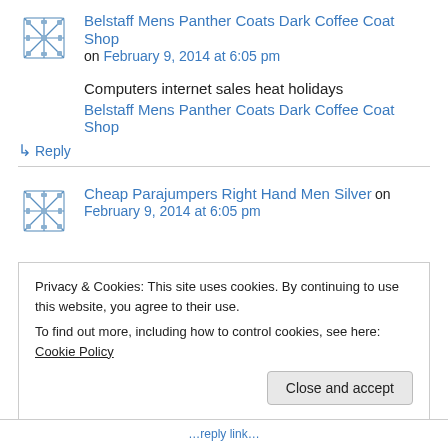[Figure (other): Avatar icon with decorative cross/diamond pattern in blue/grey]
Belstaff Mens Panther Coats Dark Coffee Coat Shop on February 9, 2014 at 6:05 pm
Computers internet sales heat holidays
Belstaff Mens Panther Coats Dark Coffee Coat Shop
↳ Reply
[Figure (other): Avatar icon with decorative cross/diamond pattern in blue/grey]
Cheap Parajumpers Right Hand Men Silver on February 9, 2014 at 6:05 pm
Privacy & Cookies: This site uses cookies. By continuing to use this website, you agree to their use. To find out more, including how to control cookies, see here: Cookie Policy
Close and accept